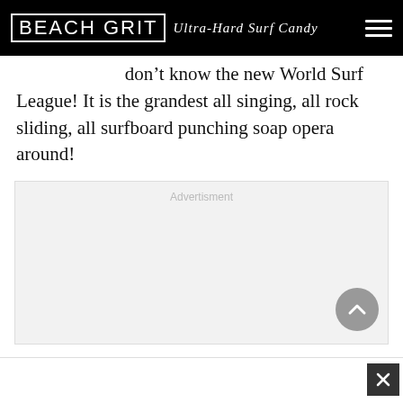BEACH GRIT Ultra-Hard Surf Candy
don't know the new World Surf League! It is the grandest all singing, all rock sliding, all surfboard punching soap opera around!
[Figure (other): Advertisement placeholder box with 'Advertisment' label and a scroll-to-top button in bottom right corner]